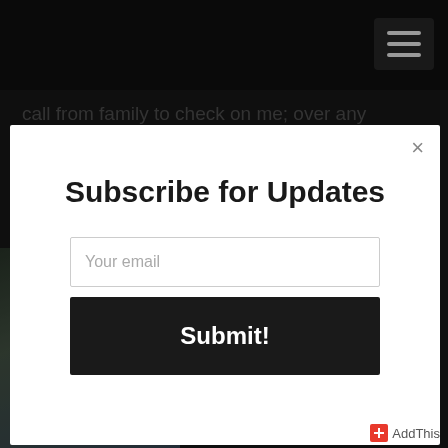call from family to check on me; over any assistance... people suck. It may not be right but I can understand how people reach this devision....
[Figure (screenshot): Subscribe for Updates modal dialog with email input field and Submit button over a dark blog page background]
Subscribe for Updates
Your email
Submit!
is
AddThis